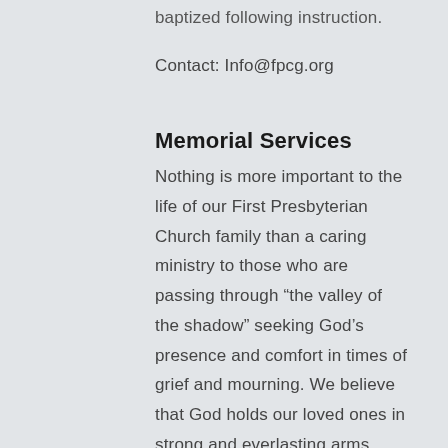baptized following instruction.
Contact: Info@fpcg.org
Memorial Services
Nothing is more important to the life of our First Presbyterian Church family than a caring ministry to those who are passing through “the valley of the shadow” seeking God’s presence and comfort in times of grief and mourning. We believe that God holds our loved ones in strong and everlasting arms, and that we who live on can know the shelter and